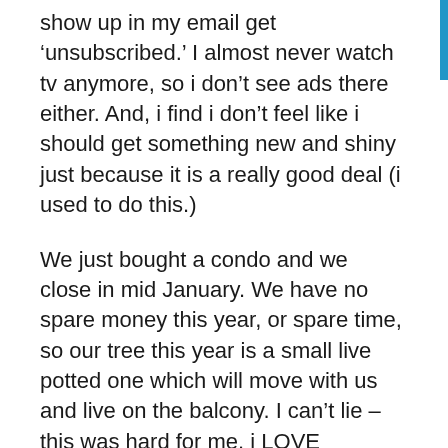show up in my email get 'unsubscribed.' I almost never watch tv anymore, so i don't see ads there either. And, i find i don't feel like i should get something new and shiny just because it is a really good deal (i used to do this.)
We just bought a condo and we close in mid January. We have no spare money this year, or spare time, so our tree this year is a small live potted one which will move with us and live on the balcony. I can't lie – this was hard for me. i LOVE christmas trees, and i collect one of a kind ornaments when we travel that we only see once a year, and knowing i was skipping that this year was a bit tough to accept, but once i made the decision, it was fine.